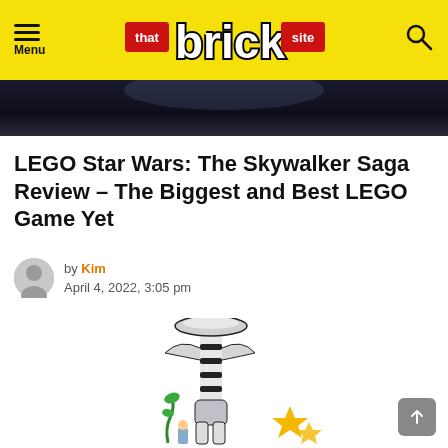Menu | that brick site | Search
[Figure (photo): Dark gradient banner image at top of article]
LEGO Star Wars: The Skywalker Saga Review – The Biggest and Best LEGO Game Yet
by Kim
April 4, 2022, 3:05 pm
[Figure (photo): LEGO model of a tall alien creature (possibly a Zillo Beast or similar Star Wars creature) built with white and black LEGO bricks, with smaller yellow LEGO elements at the base]